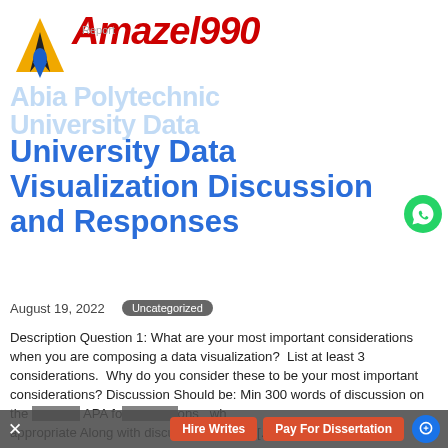[Figure (logo): Amazel990 logo with yellow/black triangle arrow icon and red italic Amazel990 text]
Report
Abia Polytechnic University Data
University Data Visualization Discussion and Responses
August 19, 2022  Uncategorized
Description Question 1: What are your most important considerations when you are composing a data visualization?  List at least 3 considerations.  Why do you consider these to be your most important considerations? Discussion Should be: Min 300 words of discussion on the  APA fo ons wh appropriate Along with discussion, need 2 [...]
Hire Writes    Pay For Dissertation